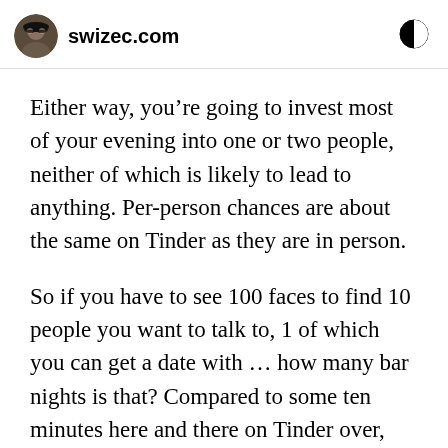swizec.com
Either way, you’re going to invest most of your evening into one or two people, neither of which is likely to lead to anything. Per-person chances are about the same on Tinder as they are in person.
So if you have to see 100 faces to find 10 people you want to talk to, 1 of which you can get a date with … how many bar nights is that? Compared to some ten minutes here and there on Tinder over, say, three days